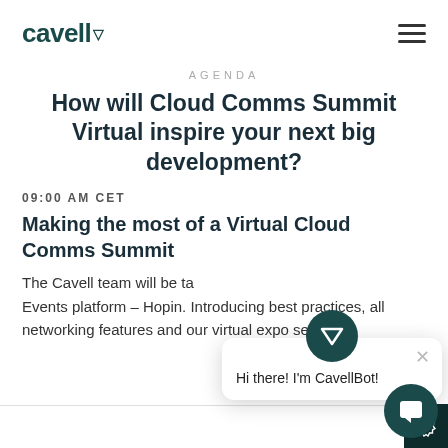cavell (logo) | hamburger menu
AGENDA
How will Cloud Comms Summit Virtual inspire your next big development?
09:00 AM CET
Making the most of a Virtual Cloud Comms Summit
The Cavell team will be ta… Events platform – Hopin. Introducing best practices, all networking features and our virtual expo section.
[Figure (screenshot): CavellBot chat popup overlay with teal triangle logo icon and greeting 'Hi there! I'm CavellBot!']